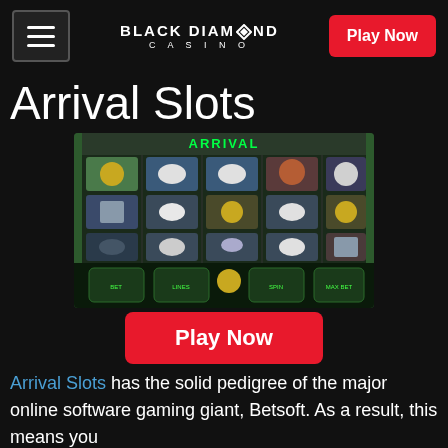BLACK DIAMOND CASINO — Play Now
Arrival Slots
[Figure (screenshot): Arrival slot machine game screenshot showing 5-reel slot with alien themed symbols including UFOs, alien creatures, and human characters on a sci-fi background with game controls at bottom]
Play Now
Arrival Slots has the solid pedigree of the major online software gaming giant, Betsoft. As a result, this means you